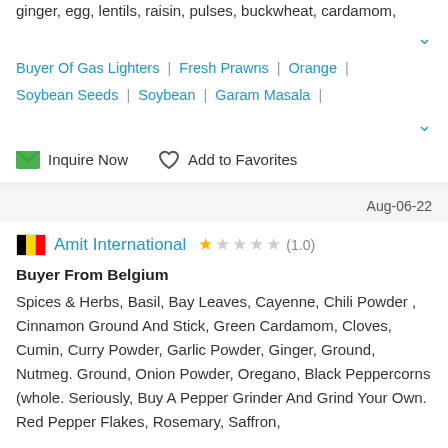ginger, egg, lentils, raisin, pulses, buckwheat, cardamom,
Buyer Of Gas Lighters | Fresh Prawns | Orange | Soybean Seeds | Soybean | Garam Masala |
Inquire Now   Add to Favorites
Aug-06-22
Amit International ★ (1.0)
Buyer From Belgium
Spices & Herbs, Basil, Bay Leaves, Cayenne, Chili Powder , Cinnamon Ground And Stick, Green Cardamom, Cloves, Cumin, Curry Powder, Garlic Powder, Ginger, Ground, Nutmeg. Ground, Onion Powder, Oregano, Black Peppercorns (whole. Seriously, Buy A Pepper Grinder And Grind Your Own. Red Pepper Flakes, Rosemary, Saffron,